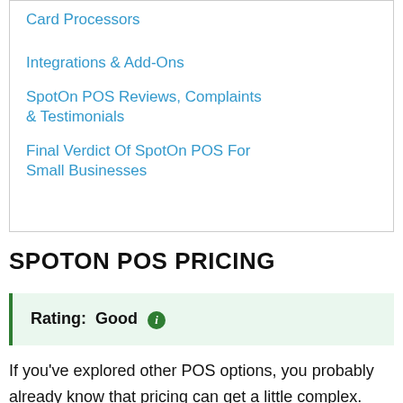Card Processors
Integrations & Add-Ons
SpotOn POS Reviews, Complaints & Testimonials
Final Verdict Of SpotOn POS For Small Businesses
SPOTON POS PRICING
Rating: Good ℹ
If you've explored other POS options, you probably already know that pricing can get a little complex. Monthly subscription